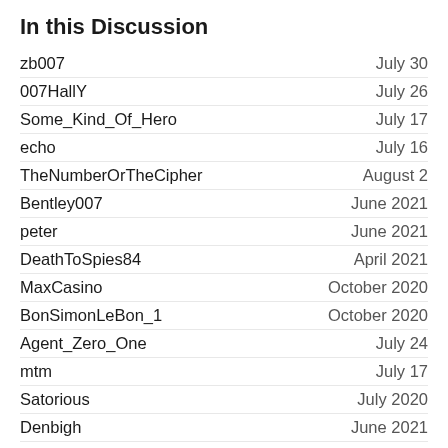In this Discussion
zb007 — July 30
007HallY — July 26
Some_Kind_Of_Hero — July 17
echo — July 16
TheNumberOrTheCipher — August 2
Bentley007 — June 2021
peter — June 2021
DeathToSpies84 — April 2021
MaxCasino — October 2020
BonSimonLeBon_1 — October 2020
Agent_Zero_One — July 24
mtm — July 17
Satorious — July 2020
Denbigh — June 2021
Herr_Stockmann — July 30
M_Blaise — May 2020